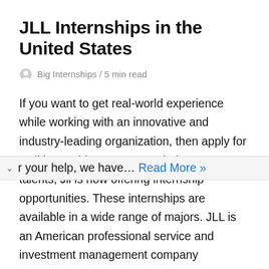JLL Internships in the United States
Big Internships / 5 min read
If you want to get real-world experience while working with an innovative and industry-leading organization, then apply for a Jll internship program. To help young talents, Jll is now offering internship opportunities. These internships are available in a wide range of majors. JLL is an American professional service and investment management company specializing in real estate. …r your help, we have… Read More »